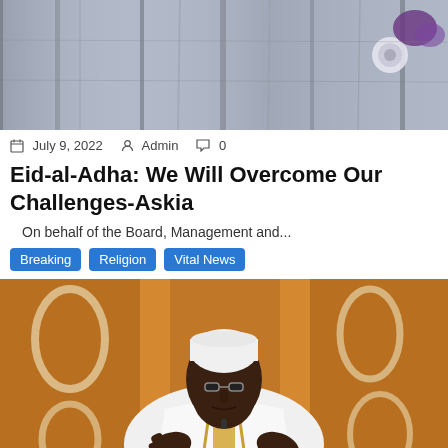[Figure (photo): Close-up photo of dark fabric/cloth with decorative purple embroidery pattern]
July 9, 2022  Admin  0
Eid-al-Adha: We Will Overcome Our Challenges-Askia
On behalf of the Board, Management and...
Breaking  Religion  Vital News
[Figure (photo): Photo of a man wearing white traditional attire and a white cap, with glasses, gesturing with his hands]